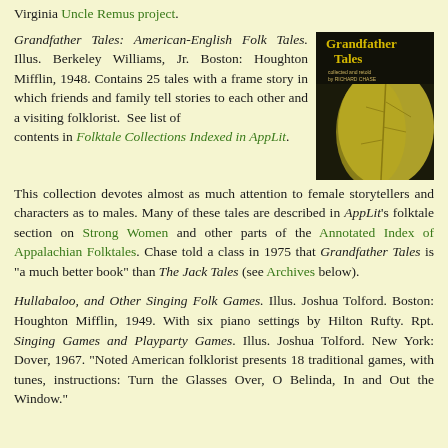Virginia Uncle Remus project.
Grandfather Tales: American-English Folk Tales. Illus. Berkeley Williams, Jr. Boston: Houghton Mifflin, 1948. Contains 25 tales with a frame story in which friends and family tell stories to each other and a visiting folklorist. See list of contents in Folktale Collections Indexed in AppLit. This collection devotes almost as much attention to female storytellers and characters as to males. Many of these tales are described in AppLit's folktale section on Strong Women and other parts of the Annotated Index of Appalachian Folktales. Chase told a class in 1975 that Grandfather Tales is "a much better book" than The Jack Tales (see Archives below).
[Figure (illustration): Book cover of Grandfather Tales collected and retold by Richard Chase, with dark background and yellow leaf illustration, title in gold text.]
Hullabaloo, and Other Singing Folk Games. Illus. Joshua Tolford. Boston: Houghton Mifflin, 1949. With six piano settings by Hilton Rufty. Rpt. Singing Games and Playparty Games. Illus. Joshua Tolford. New York: Dover, 1967. "Noted American folklorist presents 18 traditional games, with tunes, instructions: Turn the Glasses Over, O Belinda, In and Out the Window."